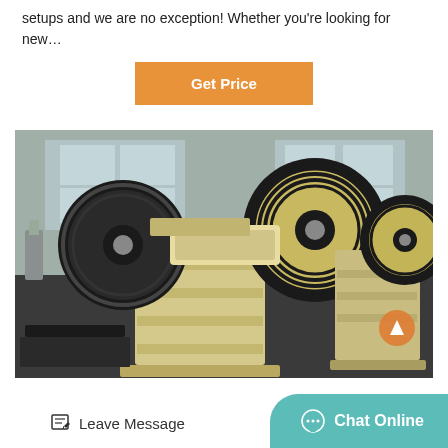setups and we are no exception! Whether you're looking for new…
Get Price
[Figure (photo): Industrial jaw crusher machine with large black flywheels and cream-colored body, photographed in a warehouse/factory setting. Two jaw crushers visible, front one prominent.]
Leave Message
Chat Online